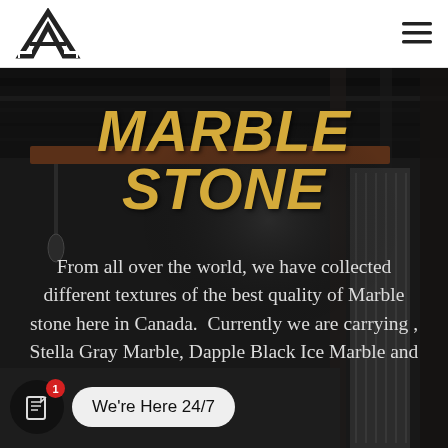[Figure (logo): Black letter A logo mark with architectural/construction style]
[Figure (screenshot): Hamburger menu icon (three horizontal lines) in top right corner]
[Figure (photo): Dark industrial warehouse interior with overhead crane and stored stone slabs, used as hero background]
MARBLE STONE
From all over the world, we have collected different textures of the best quality of Marble stone here in Canada.  Currently we are carrying , Stella Gray Marble, Dapple Black Ice Marble and
[Figure (other): Chat widget: dark circle with book/chat icon and red badge showing '1', with speech bubble saying 'We're Here 24/7']